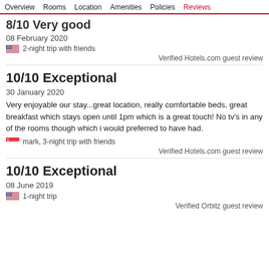Overview   Rooms   Location   Amenities   Policies   Reviews
8/10 Very good
08 February 2020
2-night trip with friends
Verified Hotels.com guest review
10/10 Exceptional
30 January 2020
Very enjoyable our stay...great location, really comfortable beds, great breakfast which stays open until 1pm which is a great touch! No tv's in any of the rooms though which i would preferred to have had.
mark, 3-night trip with friends
Verified Hotels.com guest review
10/10 Exceptional
08 June 2019
1-night trip
Verified Orbitz guest review